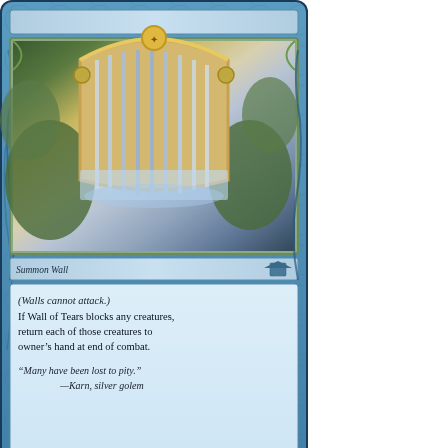[Figure (illustration): Magic: The Gathering card - Wall of Tears (blue card). Shows a mystical harp-like wall gate with swirling blue water/magic, ornate golden frame. Card type: Summon Wall. Rules text: (Walls cannot attack.) If Wall of Tears blocks any creatures, return each of those creatures to owner's hand at end of combat. Flavor text: 'Many have been lost to pity.' —Karn, silver golem. Power/Toughness: 0/4. Illus. Rebecca Guay. 1998 Wizards of the Coast, Inc.]
[Figure (illustration): Magic: The Gathering card - Wall of Razors (red/brown card, partially visible). Card name visible at top with cost symbols 1 and a red mana symbol. Art shows stone/metallic wall with razor-like protrusions and skeletal/mechanical imagery on a brown stone background.]